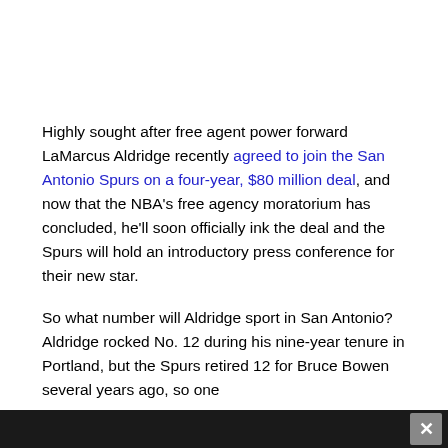Highly sought after free agent power forward LaMarcus Aldridge recently agreed to join the San Antonio Spurs on a four-year, $80 million deal, and now that the NBA's free agency moratorium has concluded, he'll soon officially ink the deal and the Spurs will hold an introductory press conference for their new star.
So what number will Aldridge sport in San Antonio? Aldridge rocked No. 12 during his nine-year tenure in Portland, but the Spurs retired 12 for Bruce Bowen several years ago, so one